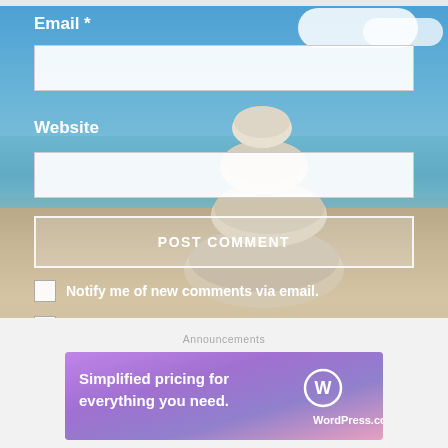Email *
Website
POST COMMENT
Notify me of new comments via email.
Notify me of new posts via email.
Announcements
[Figure (screenshot): WordPress.com advertisement banner with purple/pink gradient background. Text reads 'Simplified pricing for everything you need.' with WordPress.com logo on the right.]